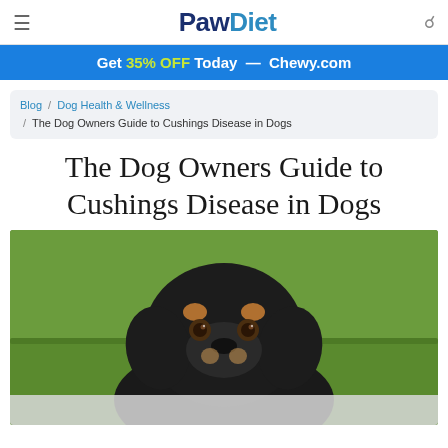PawDiet
Get 35% OFF Today — Chewy.com
Blog / Dog Health & Wellness / The Dog Owners Guide to Cushings Disease in Dogs
The Dog Owners Guide to Cushings Disease in Dogs
[Figure (photo): A black and tan Rottweiler puppy sitting on grass, looking at the camera with a calm expression.]